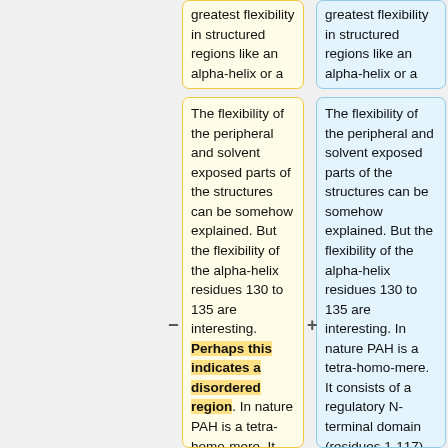greatest flexibility in structured regions like an alpha-helix or a beta-sheet.
greatest flexibility in structured regions like an alpha-helix or a beta-sheet.
The flexibility of the peripheral and solvent exposed parts of the structures can be somehow explained. But the flexibility of the alpha-helix residues 130 to 135 are interesting. Perhaps this indicates a disordered region. In nature PAH is a tetra-homo-mere. It consists of a regulatory N-terminal domain (residues 1-117), the catalytic domain (residues 118-427),
The flexibility of the peripheral and solvent exposed parts of the structures can be somehow explained. But the flexibility of the alpha-helix residues 130 to 135 are interesting. In nature PAH is a tetra-homo-mere. It consists of a regulatory N-terminal domain (residues 1-117), the catalytic domain (residues 118-427), and a C-terminal domain (residues 428-453)